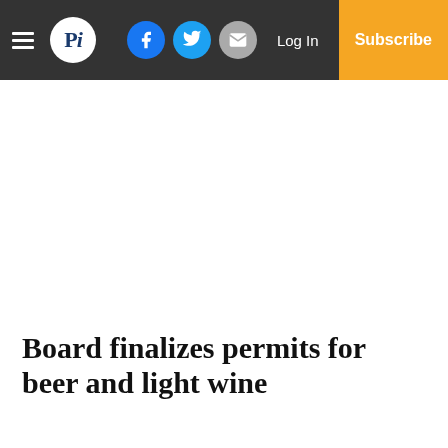Pi newspaper navigation bar with logo, social icons (Facebook, Twitter, Email), Log In, and Subscribe
Board finalizes permits for beer and light wine